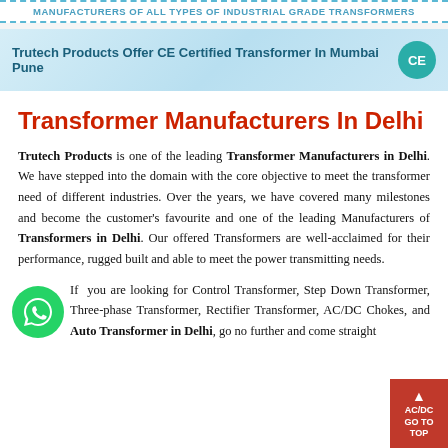MANUFACTURERS OF ALL TYPES OF INDUSTRIAL GRADE TRANSFORMERS
[Figure (infographic): Blue header band with text 'Trutech Products Offer CE Certified Transformer In Mumbai Pune' and CE certification badge circle on the right]
Transformer Manufacturers In Delhi
Trutech Products is one of the leading Transformer Manufacturers in Delhi. We have stepped into the domain with the core objective to meet the transformer need of different industries. Over the years, we have covered many milestones and become the customer's favourite and one of the leading Manufacturers of Transformers in Delhi. Our offered Transformers are well-acclaimed for their performance, rugged built and able to meet the power transmitting needs.
If you are looking for Control Transformer, Step Down Transformer, Three-phase Transformer, Rectifier Transformer, AC/DC Chokes, and Auto Transformer in Delhi, go no further and come straight